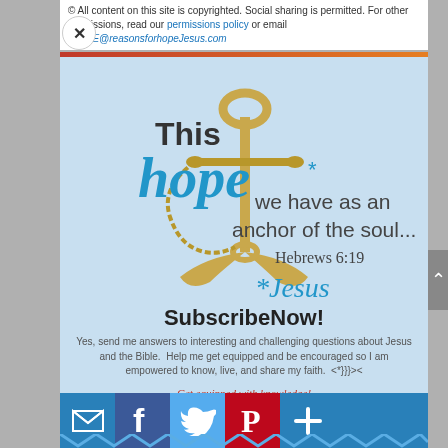© All content on this site is copyrighted. Social sharing is permitted. For other permissions, read our permissions policy or email HOPE@reasonsforhopeJesus.com
[Figure (illustration): Light blue background with gold anchor illustration and text: 'This hope* we have as an anchor of the soul... Hebrews 6:19 *Jesus' where 'hope' is in large cyan italic font overlapping the anchor image]
SubscribeNow!
Yes, send me answers to interesting and challenging questions about Jesus and the Bible. Help me get equipped and be encouraged so I am empowered to know, live, and share my faith. <*}}}><
Get equipped with knowledge!
Be encouraged in hope!
Live empowered with love!
Social sharing buttons: Email, Facebook, Twitter, Pinterest, Add